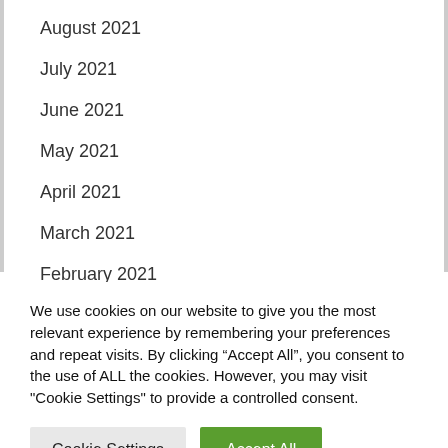August 2021
July 2021
June 2021
May 2021
April 2021
March 2021
February 2021
We use cookies on our website to give you the most relevant experience by remembering your preferences and repeat visits. By clicking “Accept All”, you consent to the use of ALL the cookies. However, you may visit "Cookie Settings" to provide a controlled consent.
Cookie Settings | Accept All